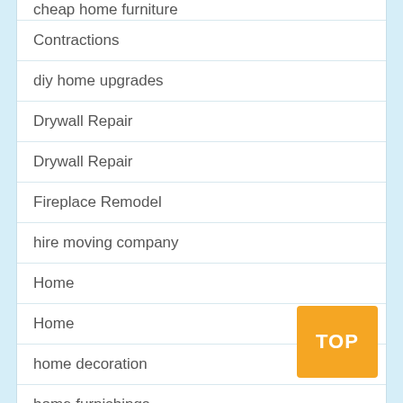cheap home furniture
Contractions
diy home upgrades
Drywall Repair
Drywall Repair
Fireplace Remodel
hire moving company
Home
Home
home decoration
home furnishings